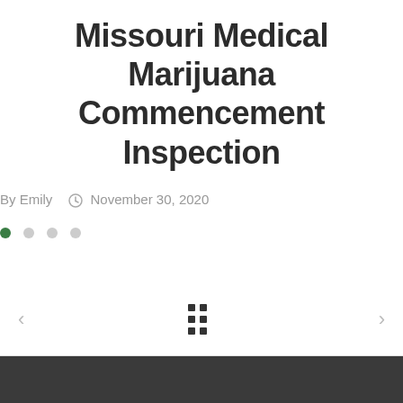Missouri Medical Marijuana Commencement Inspection
By Emily   November 30, 2020
[Figure (logo): Existo company logo — green crystal/gem icon on dark hexagonal badge with white text 'Existo' below]